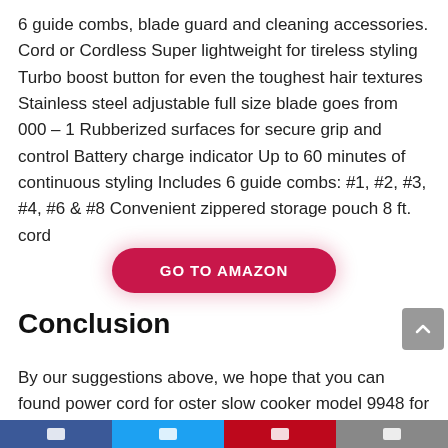6 guide combs, blade guard and cleaning accessories. Cord or Cordless Super lightweight for tireless styling Turbo boost button for even the toughest hair textures Stainless steel adjustable full size blade goes from 000 – 1 Rubberized surfaces for secure grip and control Battery charge indicator Up to 60 minutes of continuous styling Includes 6 guide combs: #1, #2, #3, #4, #6 & #8 Convenient zippered storage pouch 8 ft. cord
[Figure (other): GO TO AMAZON button — a pink/crimson pill-shaped button with white bold uppercase text]
Conclusion
By our suggestions above, we hope that you can found power cord for oster slow cooker model 9948 for you.Please don't forget to share your experience by comment in this post.
[Figure (other): Social sharing bar with Facebook, Twitter, Pinterest, and email icons]